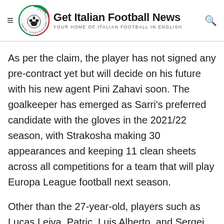Get Italian Football News — YOUR HOME OF ITALIAN FOOTBALL IN ENGLISH
As per the claim, the player has not signed any pre-contract yet but will decide on his future with his new agent Pini Zahavi soon. The goalkeeper has emerged as Sarri's preferred candidate with the gloves in the 2021/22 season, with Strakosha making 30 appearances and keeping 11 clean sheets across all competitions for a team that will play Europa League football next season.
Other than the 27-year-old, players such as Lucas Leiva, Patric, Luis Alberto, and Sergej Milinković-Savić could also leave the Rome-based club in the